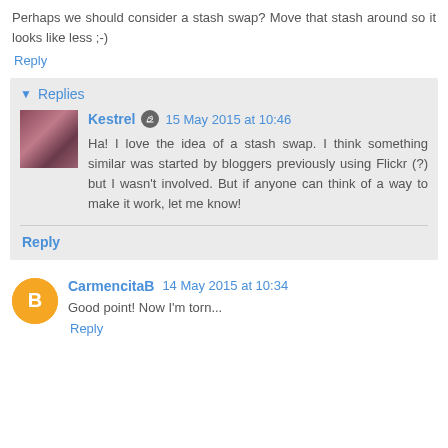Perhaps we should consider a stash swap? Move that stash around so it looks like less ;-)
Reply
Replies
Kestrel  15 May 2015 at 10:46
Ha! I love the idea of a stash swap. I think something similar was started by bloggers previously using Flickr (?) but I wasn't involved. But if anyone can think of a way to make it work, let me know!
Reply
CarmencitaB  14 May 2015 at 10:34
Good point! Now I'm torn...
Reply